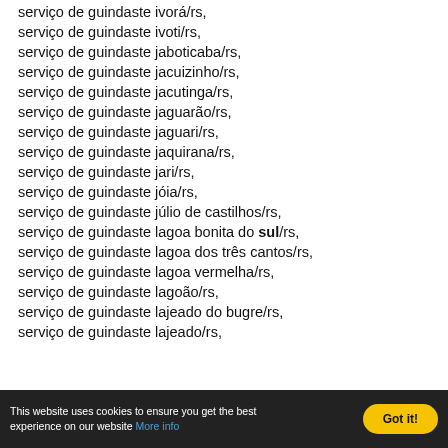serviço de guindaste ivorá/rs,
serviço de guindaste ivoti/rs,
serviço de guindaste jaboticaba/rs,
serviço de guindaste jacuizinho/rs,
serviço de guindaste jacutinga/rs,
serviço de guindaste jaguarão/rs,
serviço de guindaste jaguari/rs,
serviço de guindaste jaquirana/rs,
serviço de guindaste jari/rs,
serviço de guindaste jóia/rs,
serviço de guindaste júlio de castilhos/rs,
serviço de guindaste lagoa bonita do sul/rs,
serviço de guindaste lagoa dos três cantos/rs,
serviço de guindaste lagoa vermelha/rs,
serviço de guindaste lagoão/rs,
serviço de guindaste lajeado do bugre/rs,
serviço de guindaste lajeado/rs,
This website uses cookies to ensure you get the best experience on our website More info